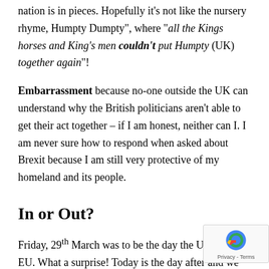nation is in pieces. Hopefully it's not like the nursery rhyme, Humpty Dumpty", where "all the Kings horses and King's men couldn't put Humpty (UK) together again"!
Embarrassment because no-one outside the UK can understand why the British politicians aren't able to get their act together – if I am honest, neither can I. I am never sure how to respond when asked about Brexit because I am still very protective of my homeland and its people.
In or Out?
Friday, 29th March was to be the day the UK leave EU. What a surprise! Today is the day after and we still in. I hope a solution is found soon because it is time